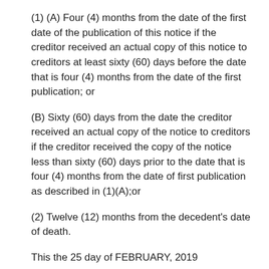(1) (A) Four (4) months from the date of the first date of the publication of this notice if the creditor received an actual copy of this notice to creditors at least sixty (60) days before the date that is four (4) months from the date of the first publication; or
(B) Sixty (60) days from the date the creditor received an actual copy of the notice to creditors if the creditor received the copy of the notice less than sixty (60) days prior to the date that is four (4) months from the date of first publication as described in (1)(A);or
(2) Twelve (12) months from the decedent's date of death.
This the 25 day of FEBRUARY, 2019